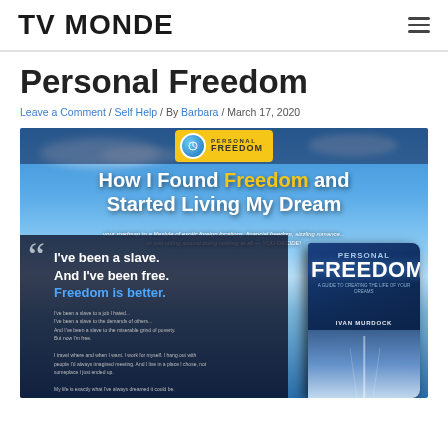TV MONDE
Personal Freedom
Leave a Comment / Self Help / By Barbara / March 17, 2020
[Figure (illustration): Promotional banner for 'Personal Freedom' book by Ivan Murdock. Features a beach/ocean background with text 'How I Found Freedom and Started Living My Dream' and a quote 'I've been a slave. And I've been free. Freedom is better.' alongside an image of the book cover.]